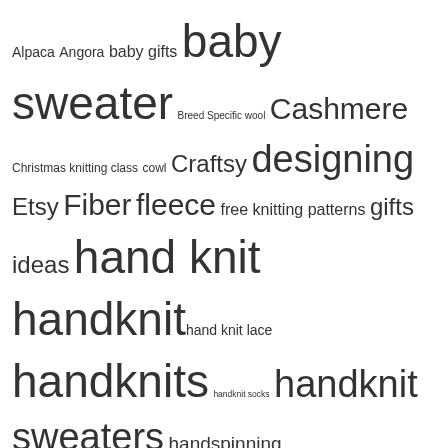[Figure (infographic): Tag cloud with knitting/fiber arts related terms in varying font sizes indicating frequency/importance. Terms include: Alpaca, Angora, baby gifts, baby sweater, Breed Specific wool, Cashmere, Christmas knitting class, cowl, Craftsy, designing, Etsy, Fiber, fleece, free knitting patterns, gifts, ideas, hand knit, handknit, hand knit lace, handknits, handknit socks, handknit sweaters, handspinning, handspun, handspun alpaca yarn, handspun yarn, hand spun yarn, hat, knitting, knitting pattern, knitting patterns, lace, lace knitting, merino, polwarth, Ravelry, Selling Online, SEO, socks, sock yarn, spinning, sweaters, washing a fleece, wool, Yarn]
Subscribe to Blog
Receive notifications of new posts by email.
Join 34 other subscribers